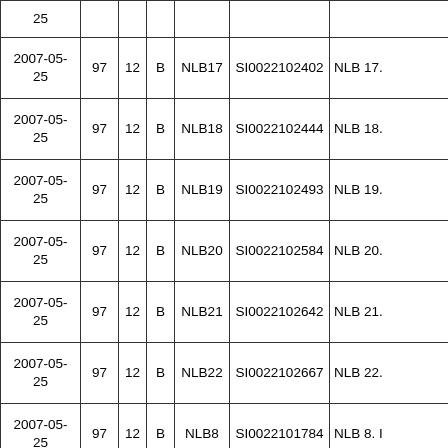| Date | Col2 | Col3 | Col4 | Col5 | Col6 | Col7 |
| --- | --- | --- | --- | --- | --- | --- |
| 25 |  |  |  |  |  |  |
| 2007-05-25 | 97 | 12 | B | NLB17 | SI0022102402 | NLB 17. |
| 2007-05-25 | 97 | 12 | B | NLB18 | SI0022102444 | NLB 18. |
| 2007-05-25 | 97 | 12 | B | NLB19 | SI0022102493 | NLB 19. |
| 2007-05-25 | 97 | 12 | B | NLB20 | SI0022102584 | NLB 20. |
| 2007-05-25 | 97 | 12 | B | NLB21 | SI0022102642 | NLB 21. |
| 2007-05-25 | 97 | 12 | B | NLB22 | SI0022102667 | NLB 22. |
| 2007-05-25 | 97 | 12 | B | NLB8 | SI0022101784 | NLB 8. I |
| 2007-05-25 | 97 | 14 | V | PBGS | SI0021400039 | PROBAT GLOBA NALO?I SKLAD |
| 2007-05-25 | 97 | 12 | B | PRCS | SI0022101330 | PO?TNA |